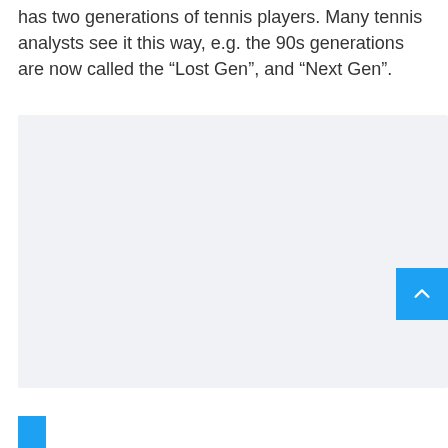has two generations of tennis players. Many tennis analysts see it this way, e.g. the 90s generations are now called the “Lost Gen”, and “Next Gen”.
[Figure (other): Large light gray empty content area, likely a placeholder for an embedded image or chart. A blue scroll-to-top button with an upward chevron arrow is positioned at the bottom-right of this area. A small blue strip is visible at the bottom-left corner.]